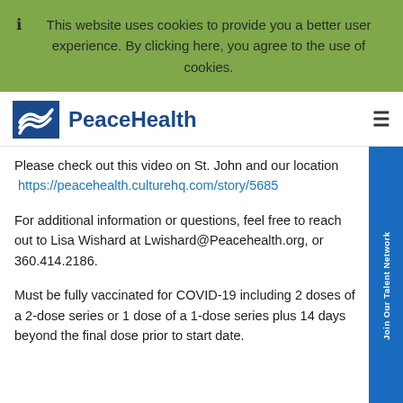This website uses cookies to provide you a better user experience. By clicking here, you agree to the use of cookies.
[Figure (logo): PeaceHealth logo with blue box containing white wave graphic and PeaceHealth text in blue]
Please check out this video on St. John and our location  https://peacehealth.culturehq.com/story/5685
For additional information or questions, feel free to reach out to Lisa Wishard at Lwishard@Peacehealth.org, or 360.414.2186.
Must be fully vaccinated for COVID-19 including 2 doses of a 2-dose series or 1 dose of a 1-dose series plus 14 days beyond the final dose prior to start date.